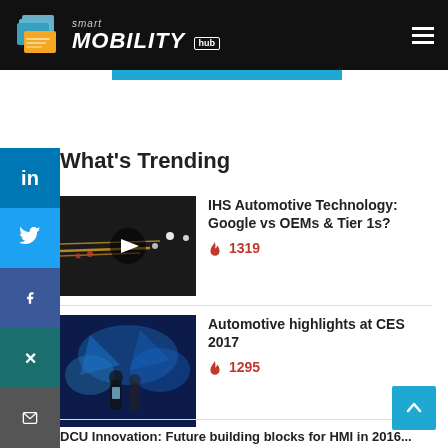smart MOBILITY hub
What's Trending
[Figure (photo): Traffic at night with a video play button overlay]
IHS Automotive Technology: Google vs OEMs & Tier 1s?
🔥 1319
[Figure (photo): People with glowing blue lights in background, CES 2017]
Automotive highlights at CES 2017
🔥 1295
DCU Innovation: Future building blocks for HMI in 2016...